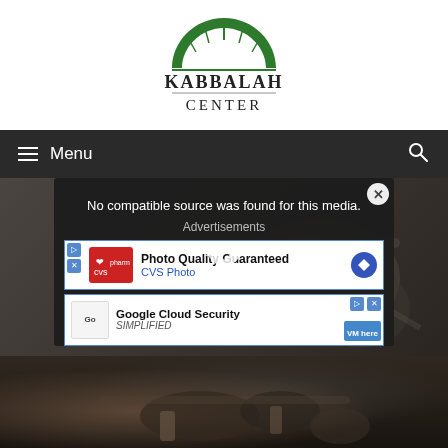[Figure (logo): Kabbalah Center logo with green arch/dome design above text]
☰ Menu
[Figure (screenshot): Video player overlay showing 'No compatible source was found for this media.' with Advertisements section and two ad boxes (CVS Photo and Google Cloud Security SIMPLIFIED), overlaid with large X close button]
[Figure (photo): Photo of person's hands working on motorcycle engine parts, dark background]